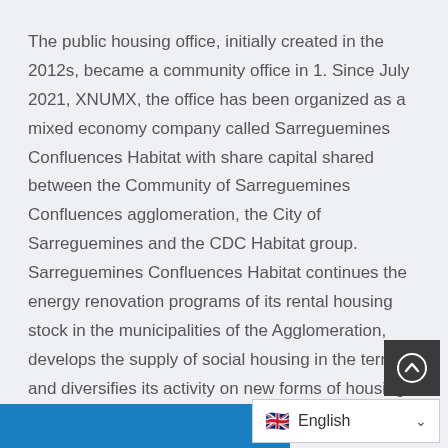The public housing office, initially created in the 2012s, became a community office in 1. Since July 2021, XNUMX, the office has been organized as a mixed economy company called Sarreguemines Confluences Habitat with share capital shared between the Community of Sarreguemines Confluences agglomeration, the City of Sarreguemines and the CDC Habitat group. Sarreguemines Confluences Habitat continues the energy renovation programs of its rental housing stock in the municipalities of the Agglomeration, develops the supply of social housing in the territory and diversifies its activity on new forms of housing and mixed operations, adapted current demands.